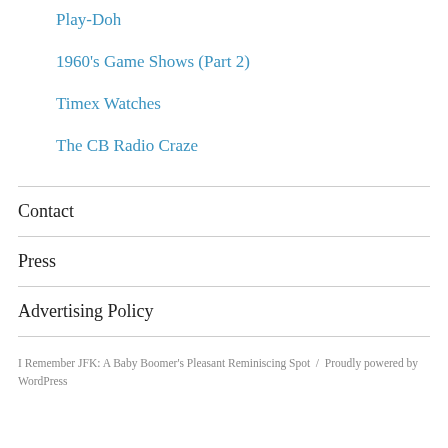Play-Doh
1960's Game Shows (Part 2)
Timex Watches
The CB Radio Craze
Contact
Press
Advertising Policy
I Remember JFK: A Baby Boomer's Pleasant Reminiscing Spot / Proudly powered by WordPress